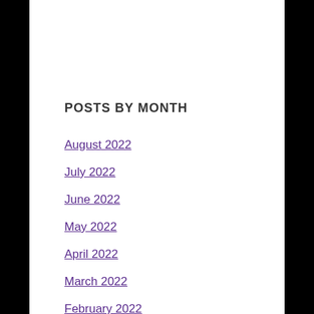POSTS BY MONTH
August 2022
July 2022
June 2022
May 2022
April 2022
March 2022
February 2022
January 2022
December 2021
November 2021